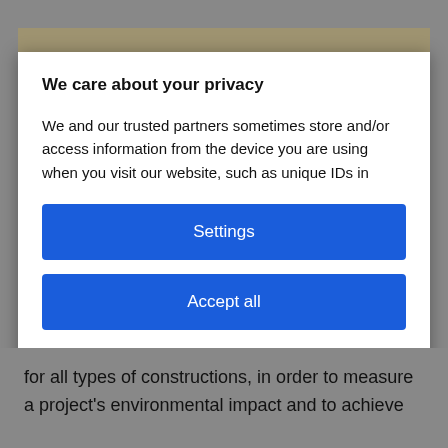We care about your privacy
We and our trusted partners sometimes store and/or access information from the device you are using when you visit our website, such as unique IDs in cookies that in certain cases may constitute personal data. You can accept or manage your choices by clicking below or at any time on the page with the privacy notice. These choices will be transferred to
Settings
Accept all
for all types of constructions, in order to measure a project's environmental impact and to achieve